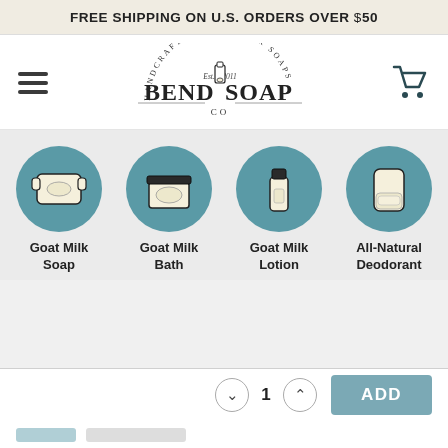FREE SHIPPING ON U.S. ORDERS OVER $50
[Figure (logo): Bend Soap Co. logo with text 'Handcrafted Goat Milk Soaps Est. 2011' and a milk bottle illustration]
[Figure (illustration): Four circular teal category icons: Goat Milk Soap (bar of soap), Goat Milk Bath (jar), Goat Milk Lotion (bottle), All-Natural Deodorant (stick)]
Goat Milk Soap
Goat Milk Bath
Goat Milk Lotion
All-Natural Deodorant
1
ADD